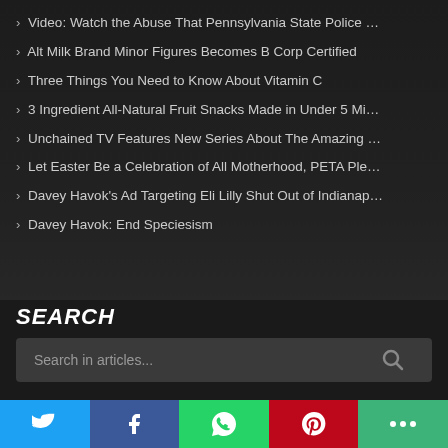Video: Watch the Abuse That Pennsylvania State Police …
Alt Milk Brand Minor Figures Becomes B Corp Certified
Three Things You Need to Know About Vitamin C
3 Ingredient All-Natural Fruit Snacks Made in Under 5 Mi…
Unchained TV Features New Series About The Amazing …
Let Easter Be a Celebration of All Motherhood, PETA Ple…
Davey Havok's Ad Targeting Eli Lilly Shut Out of Indianap…
Davey Havok: End Speciesism
SEARCH
Search in articles...
ARCHIVES